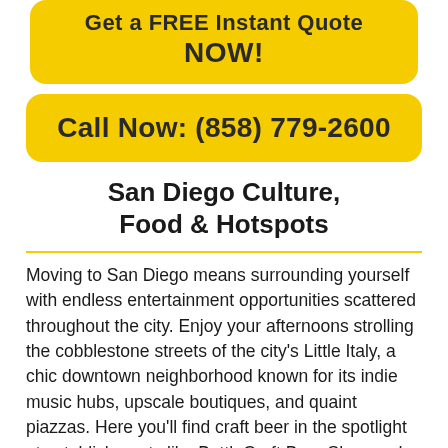Get a FREE Instant Quote NOW!
Call Now: (858) 779-2600
San Diego Culture, Food & Hotspots
Moving to San Diego means surrounding yourself with endless entertainment opportunities scattered throughout the city. Enjoy your afternoons strolling the cobblestone streets of the city's Little Italy, a chic downtown neighborhood known for its indie music hubs, upscale boutiques, and quaint piazzas. Here you'll find craft beer in the spotlight at establishments like BottleCraft Beer Shop and Ballast Point. When all your weekend life has looked down...